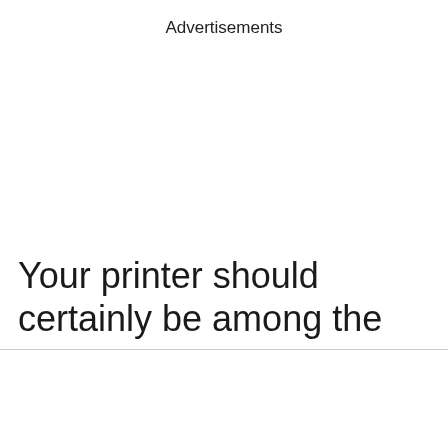Advertisements
Your printer should certainly be among the